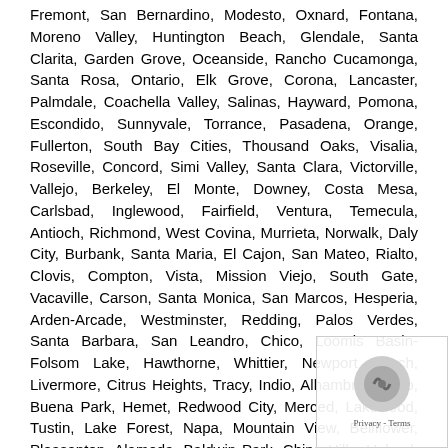Fremont, San Bernardino, Modesto, Oxnard, Fontana, Moreno Valley, Huntington Beach, Glendale, Santa Clarita, Garden Grove, Oceanside, Rancho Cucamonga, Santa Rosa, Ontario, Elk Grove, Corona, Lancaster, Palmdale, Coachella Valley, Salinas, Hayward, Pomona, Escondido, Sunnyvale, Torrance, Pasadena, Orange, Fullerton, South Bay Cities, Thousand Oaks, Visalia, Roseville, Concord, Simi Valley, Santa Clara, Victorville, Vallejo, Berkeley, El Monte, Downey, Costa Mesa, Carlsbad, Inglewood, Fairfield, Ventura, Temecula, Antioch, Richmond, West Covina, Murrieta, Norwalk, Daly City, Burbank, Santa Maria, El Cajon, San Mateo, Rialto, Clovis, Compton, Vista, Mission Viejo, South Gate, Vacaville, Carson, Santa Monica, San Marcos, Hesperia, Arden-Arcade, Westminster, Redding, Palos Verdes, Santa Barbara, San Leandro, Chico, Loomis Basin-Folsom Lake, Hawthorne, Whittier, Newport Beach, Livermore, Citrus Heights, Tracy, Indio, Alhambra, Chino, Buena Park, Hemet, Redwood City, Merced, Lakewood, Tustin, Lake Forest, Napa, Mountain View, Bellflower, Pleasanton, Alameda, Baldwin Park, Chino Hills, Upland, Folsom, San Ramon, Perris, Milpitas, Uni... Manteca, Apple Valley, Turlock, Redlands, San Gorgoni... Rancho Cordova, Redondo Beach, Pittsburg, Yorba Linda, Walnut...